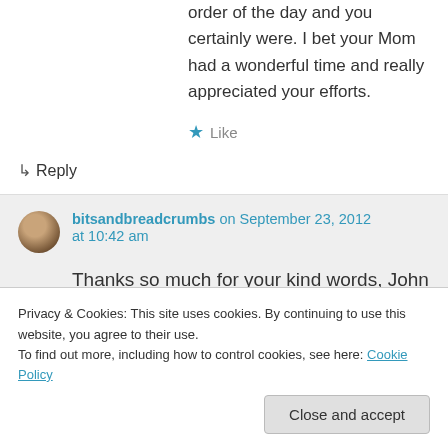order of the day and you certainly were. I bet your Mom had a wonderful time and really appreciated your efforts.
★ Like
↳ Reply
bitsandbreadcrumbs on September 23, 2012 at 10:42 am
Thanks so much for your kind words, John
Privacy & Cookies: This site uses cookies. By continuing to use this website, you agree to their use.
To find out more, including how to control cookies, see here: Cookie Policy
Close and accept
personal chefs! But mom did really